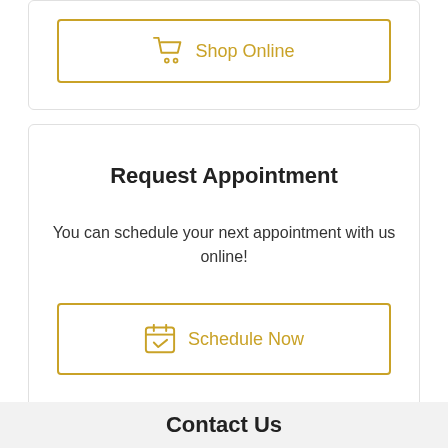[Figure (other): Shop Online button with cart icon, gold border]
Request Appointment
You can schedule your next appointment with us online!
[Figure (other): Schedule Now button with calendar icon, gold border]
985-875-7898
Contact Us